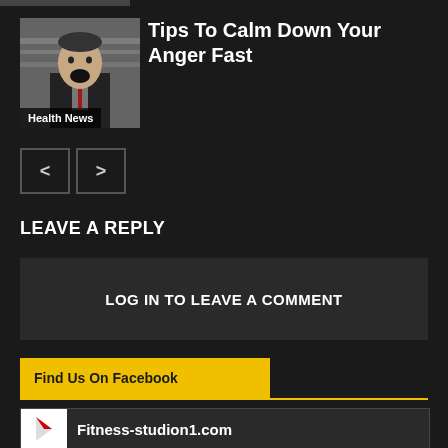[Figure (photo): Angry man in business suit with mouth open shouting, black and white photo]
Tips To Calm Down Your Anger Fast
Health News
< >
LEAVE A REPLY
LOG IN TO LEAVE A COMMENT
Find Us On Facebook
Fitness-studion1.com